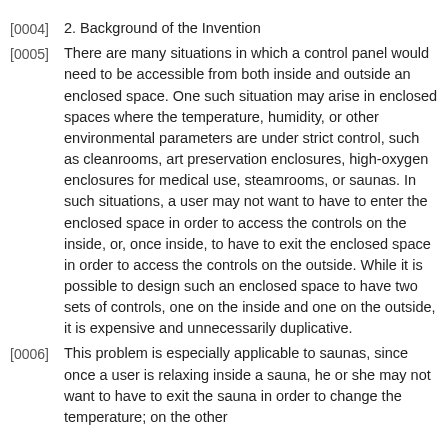2. Background of the Invention
There are many situations in which a control panel would need to be accessible from both inside and outside an enclosed space. One such situation may arise in enclosed spaces where the temperature, humidity, or other environmental parameters are under strict control, such as cleanrooms, art preservation enclosures, high-oxygen enclosures for medical use, steamrooms, or saunas. In such situations, a user may not want to have to enter the enclosed space in order to access the controls on the inside, or, once inside, to have to exit the enclosed space in order to access the controls on the outside. While it is possible to design such an enclosed space to have two sets of controls, one on the inside and one on the outside, it is expensive and unnecessarily duplicative.
This problem is especially applicable to saunas, since once a user is relaxing inside a sauna, he or she may not want to have to exit the sauna in order to change the temperature; on the other hand if a user wants to start the temperature in